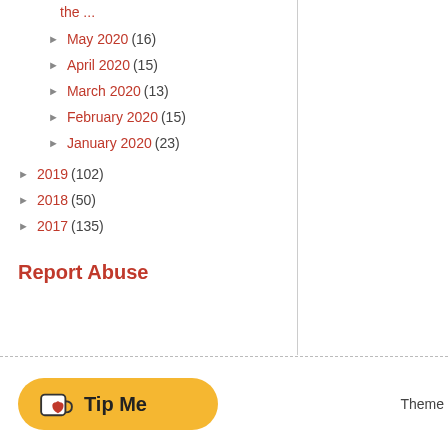the ...
May 2020 (16)
April 2020 (15)
March 2020 (13)
February 2020 (15)
January 2020 (23)
2019 (102)
2018 (50)
2017 (135)
Report Abuse
Theme